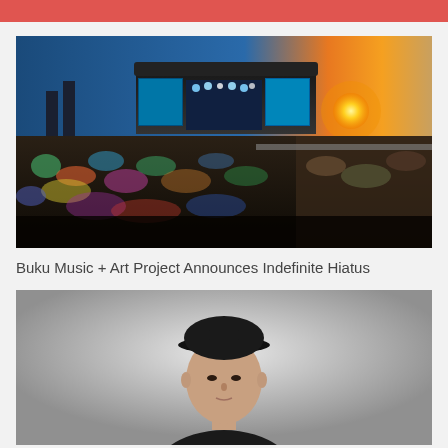[Figure (photo): Outdoor music festival at sunset with a large crowd in front of an illuminated stage with LED screens, industrial smokestacks visible in background, golden sun on the horizon]
Buku Music + Art Project Announces Indefinite Hiatus
[Figure (photo): Portrait photo of a person wearing a black cap and dark clothing against a grey gradient background]